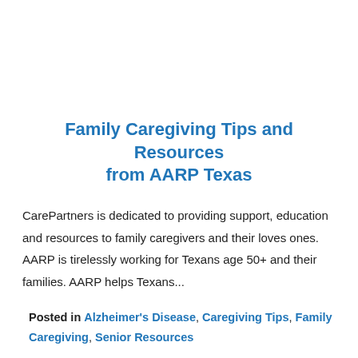Family Caregiving Tips and Resources from AARP Texas
CarePartners is dedicated to providing support, education and resources to family caregivers and their loves ones. AARP is tirelessly working for Texans age 50+ and their families. AARP helps Texans...
Posted in Alzheimer's Disease, Caregiving Tips, Family Caregiving, Senior Resources